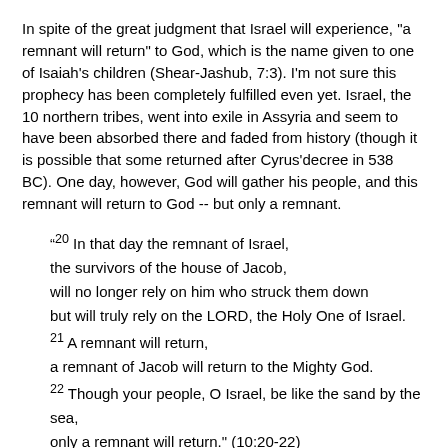In spite of the great judgment that Israel will experience, "a remnant will return" to God, which is the name given to one of Isaiah's children (Shear-Jashub, 7:3). I'm not sure this prophecy has been completely fulfilled even yet. Israel, the 10 northern tribes, went into exile in Assyria and seem to have been absorbed there and faded from history (though it is possible that some returned after Cyrus'decree in 538 BC). One day, however, God will gather his people, and this remnant will return to God -- but only a remnant.
“20 In that day the remnant of Israel, the survivors of the house of Jacob, will no longer rely on him who struck them down but will truly rely on the LORD, the Holy One of Israel. 21 A remnant will return, a remnant of Jacob will return to the Mighty God. 22 Though your people, O Israel, be like the sand by the sea, only a remnant will return." (10:20-22)
Judah Is Not to Fear (10:24-34)
Isaiah is concluding this prophecy at the time when Ahaz is threatened by attack from the combined forces of Syria and Israel. Residents of Jerusalem are told not to fear (10:24-25). Though, on this occasion foreign armies will come close -- as close as Nob, which is just outside